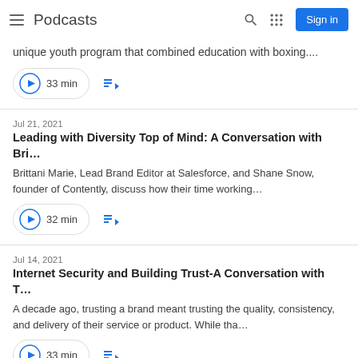Podcasts
unique youth program that combined education with boxing....
33 min
Jul 21, 2021
Leading with Diversity Top of Mind: A Conversation with Bri…
Brittani Marie, Lead Brand Editor at Salesforce, and Shane Snow, founder of Contently, discuss how their time working…
32 min
Jul 14, 2021
Internet Security and Building Trust-A Conversation with T…
A decade ago, trusting a brand meant trusting the quality, consistency, and delivery of their service or product. While tha…
33 min